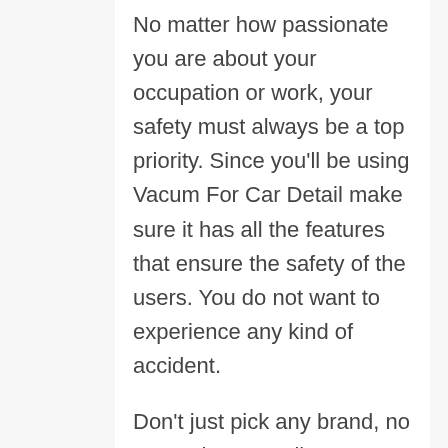No matter how passionate you are about your occupation or work, your safety must always be a top priority. Since you'll be using Vacum For Car Detail make sure it has all the features that ensure the safety of the users. You do not want to experience any kind of accident.
Don't just pick any brand, no matter how excellent, inexpensive, or available it is. Ensure that safety measures have been considered.
Materials of the Vacum For Car Detail